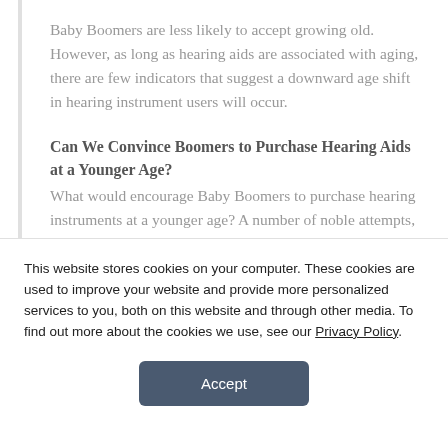Baby Boomers are less likely to accept growing old. However, as long as hearing aids are associated with aging, there are few indicators that suggest a downward age shift in hearing instrument users will occur.
Can We Convince Boomers to Purchase Hearing Aids at a Younger Age?
What would encourage Baby Boomers to purchase hearing instruments at a younger age? A number of noble attempts, including national marketing campaigns, have been initiated to encourage younger
This website stores cookies on your computer. These cookies are used to improve your website and provide more personalized services to you, both on this website and through other media. To find out more about the cookies we use, see our Privacy Policy.